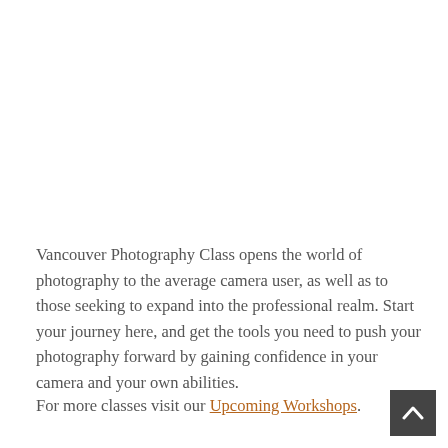Vancouver Photography Class opens the world of photography to the average camera user, as well as to those seeking to expand into the professional realm. Start your journey here, and get the tools you need to push your photography forward by gaining confidence in your camera and your own abilities.
For more classes visit our Upcoming Workshops.